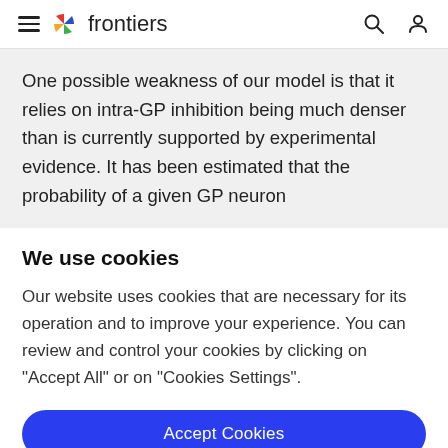frontiers
One possible weakness of our model is that it relies on intra-GP inhibition being much denser than is currently supported by experimental evidence. It has been estimated that the probability of a given GP neuron
We use cookies
Our website uses cookies that are necessary for its operation and to improve your experience. You can review and control your cookies by clicking on "Accept All" or on "Cookies Settings".
Accept Cookies
Cookies Settings